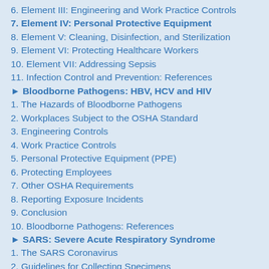6. Element III: Engineering and Work Practice Controls
7. Element IV: Personal Protective Equipment
8. Element V: Cleaning, Disinfection, and Sterilization
9. Element VI: Protecting Healthcare Workers
10. Element VII: Addressing Sepsis
11. Infection Control and Prevention: References
► Bloodborne Pathogens: HBV, HCV and HIV
1. The Hazards of Bloodborne Pathogens
2. Workplaces Subject to the OSHA Standard
3. Engineering Controls
4. Work Practice Controls
5. Personal Protective Equipment (PPE)
6. Protecting Employees
7. Other OSHA Requirements
8. Reporting Exposure Incidents
9. Conclusion
10. Bloodborne Pathogens: References
► SARS: Severe Acute Respiratory Syndrome
1. The SARS Coronavirus
2. Guidelines for Collecting Specimens
3. Management of SARS